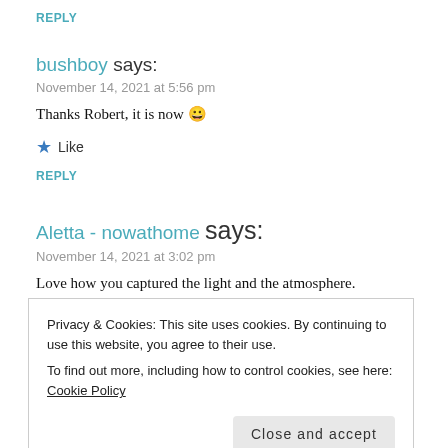REPLY
bushboy says:
November 14, 2021 at 5:56 pm
Thanks Robert, it is now 😀
★ Like
REPLY
Aletta - nowathome says:
November 14, 2021 at 3:02 pm
Love how you captured the light and the atmosphere.
Privacy & Cookies: This site uses cookies. By continuing to use this website, you agree to their use. To find out more, including how to control cookies, see here: Cookie Policy
Close and accept
November 14, 2021 at 3:03 pm